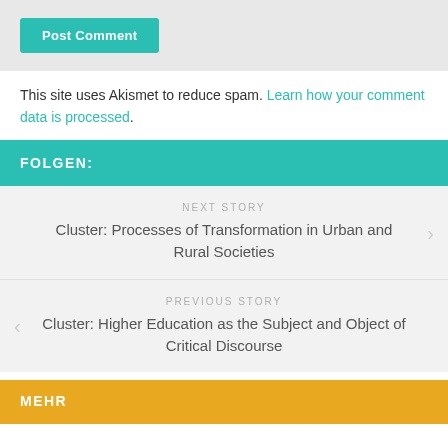[Figure (other): Post Comment button in teal/turquoise color on gray background]
This site uses Akismet to reduce spam. Learn how your comment data is processed.
FOLGEN:
NEXT STORY
Cluster: Processes of Transformation in Urban and Rural Societies
PREVIOUS STORY
Cluster: Higher Education as the Subject and Object of Critical Discourse
MEHR